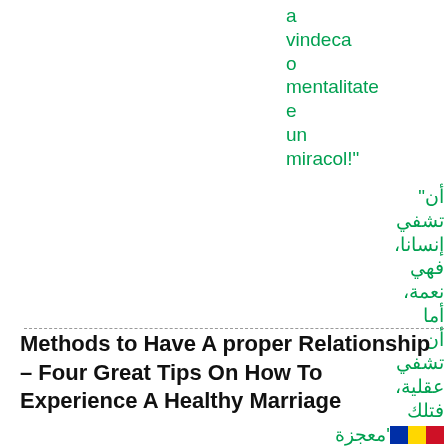a vindeca o mentalitate e un miracol!"
"أن تشفي إنسانا، فهي نعمة، أما أن تشفي عقلية، فتلك معجزة'
Methods to Have A proper Relationship – Four Great Tips On How To Experience A Healthy Marriage